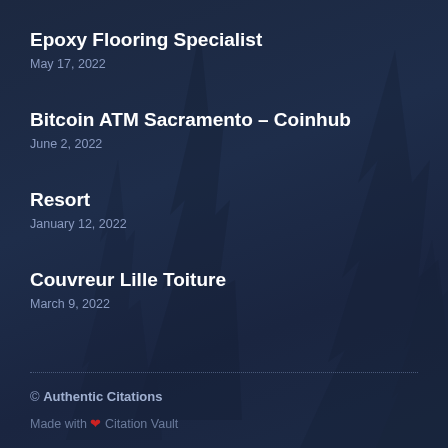Epoxy Flooring Specialist
May 17, 2022
Bitcoin ATM Sacramento – Coinhub
June 2, 2022
Resort
January 12, 2022
Couvreur Lille Toiture
March 9, 2022
© Authentic Citations
Made with ❤ Citation Vault